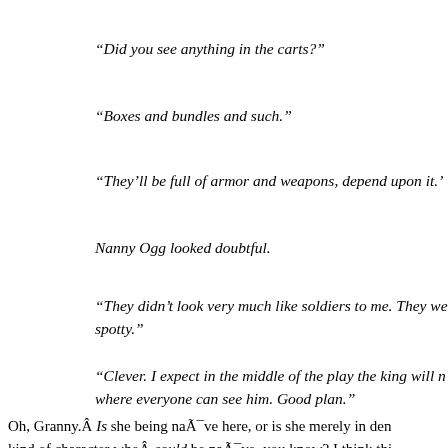“Did you see anything in the carts?”
“Boxes and bundles and such.”
“They’ll be full of armor and weapons, depend upon it.’
Nanny Ogg looked doubtful.
“They didn’t look very much like soldiers to me. They we… spotty.”
“Clever. I expect in the middle of the play the king will n… where everyone can see him. Good plan.”
Oh, Granny.Â Is she being naÃ¯ve here, or is she merely in den… kind of character whoÂ could be naÃ¯ve, you know? I think thi… honestly. She covers it up with more certainty than she needs to… the Duke, who masks his own doubt and guilt in the same sort…